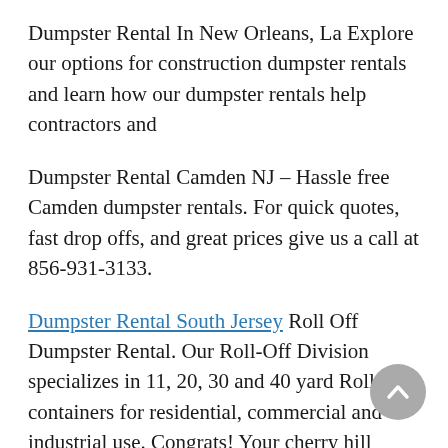Dumpster Rental In New Orleans, La Explore our options for construction dumpster rentals and learn how our dumpster rentals help contractors and
Dumpster Rental Camden NJ – Hassle free Camden dumpster rentals. For quick quotes, fast drop offs, and great prices give us a call at 856-931-3133.
Dumpster Rental South Jersey Roll Off Dumpster Rental. Our Roll-Off Division specializes in 11, 20, 30 and 40 yard Roll-Off containers for residential, commercial and industrial use. Congrats! Your cherry hill dumpster rental search found us! Call 856-931-